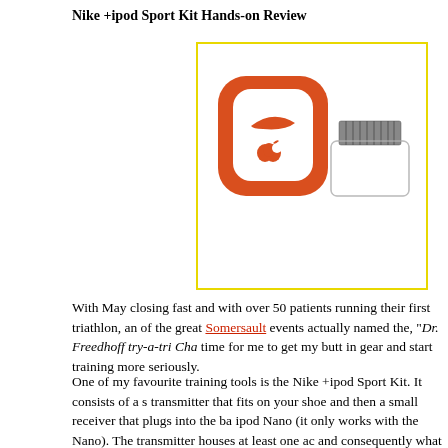Nike +ipod Sport Kit Hands-on Review
[Figure (photo): Nike +ipod Sport Kit product photo showing the orange/white sensor transmitter and the small white iPod receiver dongle with connector pins]
With May closing fast and with over 50 patients running their first triathlon, and one of the great Somersault events actually named the, "Dr. Freedhoff try-a-tri Cha... time for me to get my butt in gear and start training more seriously.
One of my favourite training tools is the Nike +ipod Sport Kit. It consists of a s... transmitter that fits on your shoe and then a small receiver that plugs into the ba... ipod Nano (it only works with the Nano). The transmitter houses at least one ac... and consequently what it does is track your speed and distance and then transm... your ipod.